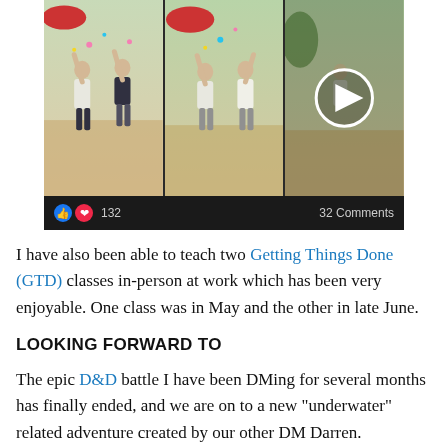[Figure (photo): A Facebook post screenshot showing a collage of three outdoor photos of people celebrating (arms raised, confetti), with a play button overlay on the third panel. Below the images is a dark bar showing reaction icons (like and heart), count '132', and '32 Comments'.]
I have also been able to teach two Getting Things Done (GTD) classes in-person at work which has been very enjoyable.  One class was in May and the other in late June.
LOOKING FORWARD TO
The epic D&D battle I have been DMing for several months has finally ended, and we are on to a new "underwater" related adventure created by our other DM Darren.
We have several mini-vacations coming up across July & August: one week in Mission Beach at a